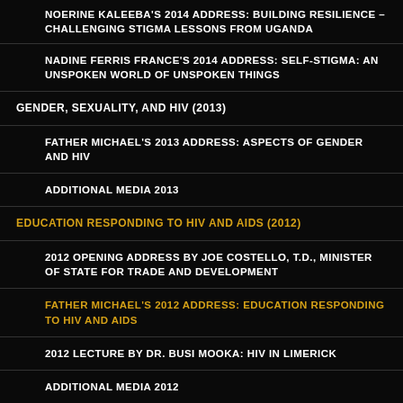NOERINE KALEEBA'S 2014 ADDRESS: BUILDING RESILIENCE – CHALLENGING STIGMA LESSONS FROM UGANDA
NADINE FERRIS FRANCE'S 2014 ADDRESS: SELF-STIGMA: AN UNSPOKEN WORLD OF UNSPOKEN THINGS
GENDER, SEXUALITY, AND HIV (2013)
FATHER MICHAEL'S 2013 ADDRESS: ASPECTS OF GENDER AND HIV
ADDITIONAL MEDIA 2013
EDUCATION RESPONDING TO HIV AND AIDS (2012)
2012 OPENING ADDRESS BY JOE COSTELLO, T.D., MINISTER OF STATE FOR TRADE AND DEVELOPMENT
FATHER MICHAEL'S 2012 ADDRESS: EDUCATION RESPONDING TO HIV AND AIDS
2012 LECTURE BY DR. BUSI MOOKA: HIV IN LIMERICK
ADDITIONAL MEDIA 2012
THE GLOBAL HEALTH WORKFORCE (2011)